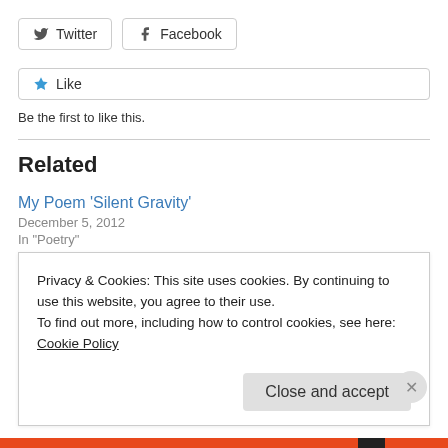[Figure (other): Twitter and Facebook share buttons]
[Figure (other): Like button with star icon and 'Be the first to like this.' text]
Be the first to like this.
Related
My Poem ‘Silent Gravity’
December 5, 2012
In “Poetry”
My Poem ‘The Best’
October 11, 2012
Privacy & Cookies: This site uses cookies. By continuing to use this website, you agree to their use.
To find out more, including how to control cookies, see here: Cookie Policy
Close and accept